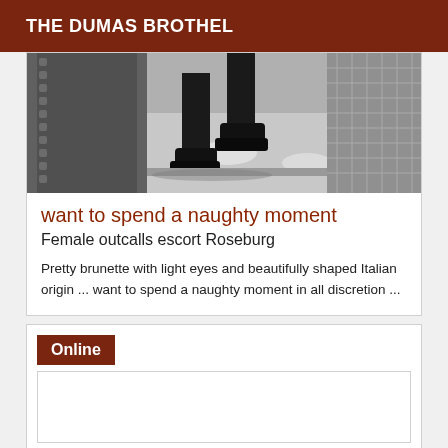THE DUMAS BROTHEL
[Figure (photo): Close-up photo of a person's legs and feet in black shoes/boots standing on a textured metal grate or grid surface, with dappled light patterns visible]
want to spend a naughty moment
Female outcalls escort Roseburg
Pretty brunette with light eyes and beautifully shaped Italian origin ... want to spend a naughty moment in all discretion ...
Online